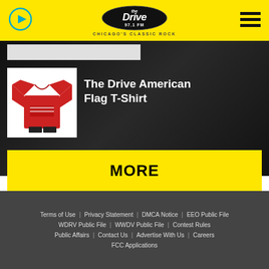[Figure (logo): The Drive 97.1 FM Chicago's Classic Rock logo on yellow header bar with play button icon and hamburger menu icon]
[Figure (photo): Man wearing a red t-shirt with The Drive American Flag design]
The Drive American Flag T-Shirt
MORE
Terms of Use   Privacy Statement   DMCA Notice   EEO Public File   WDRV Public File   WWDV Public File   Contest Rules   Public Affairs   Contact Us   Advertise With Us   Careers   FCC Applications